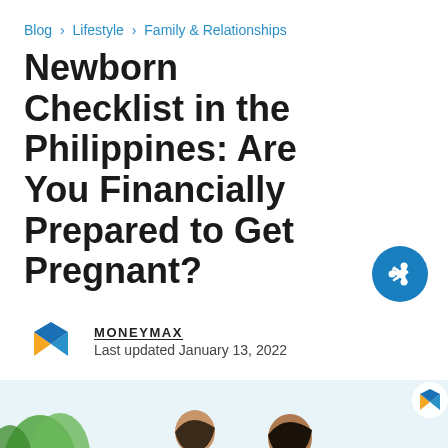Blog > Lifestyle > Family & Relationships
Newborn Checklist in the Philippines: Are You Financially Prepared to Get Pregnant?
MONEYMAX
Last updated January 13, 2022
[Figure (photo): Hero image showing a couple looking at something with text overlay 'Cost of Having a Baby' on a blue/green banner, with a Moneymax logo in the corner and green plant leaves on the left.]